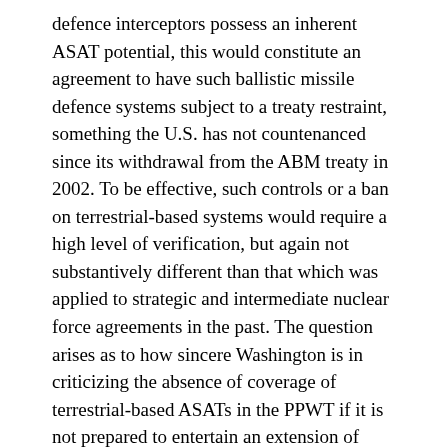defence interceptors possess an inherent ASAT potential, this would constitute an agreement to have such ballistic missile defence systems subject to a treaty restraint, something the U.S. has not countenanced since its withdrawal from the ABM treaty in 2002. To be effective, such controls or a ban on terrestrial-based systems would require a high level of verification, but again not substantively different than that which was applied to strategic and intermediate nuclear force agreements in the past. The question arises as to how sincere Washington is in criticizing the absence of coverage of terrestrial-based ASATs in the PPWT if it is not prepared to entertain an extension of space-related arms control to these systems.
Arms Tend to be Developed Before They are Controlled
There is an unusual strain in Ford's critique of the Sino-Russian space arms control proposals in which he basically accuses Moscow and Beijing of hypocrisy in developing counter-space capabilities while simultaneously proposing arms control for the space realm. While one may well